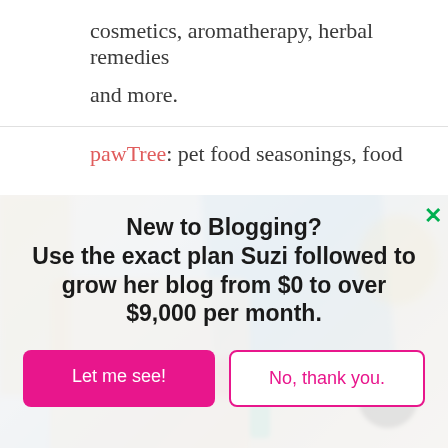cosmetics, aromatherapy, herbal remedies and more.
pawTree: pet food seasonings, food
[Figure (photo): Blurred background photo of a desk workspace with shoes, laptop (Apple), decorative items on a wall, and a gold shelf.]
New to Blogging? Use the exact plan Suzi followed to grow her blog from $0 to over $9,000 per month.
Let me see!
No, thank you.